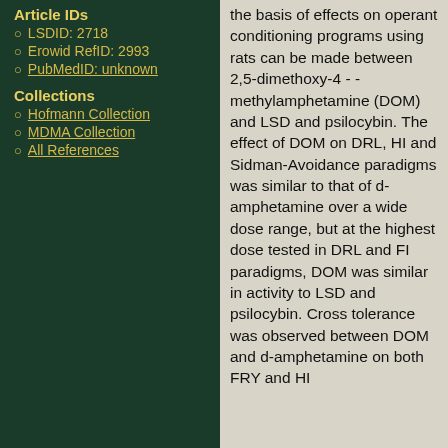Article IDs
LSDID: 2718
Erowid RefID: 2993
PubMedID: unknown
Collections
Hofmann Collection
MDMA Collection
All References
the basis of effects on operant conditioning programs using rats can be made between 2,5-dimethoxy-4 - - methylamphetamine (DOM) and LSD and psilocybin. The effect of DOM on DRL, HI and Sidman-Avoidance paradigms was similar to that of d-amphetamine over a wide dose range, but at the highest dose tested in DRL and FI paradigms, DOM was similar in activity to LSD and psilocybin. Cross tolerance was observed between DOM and d-amphetamine on both FRY and HI